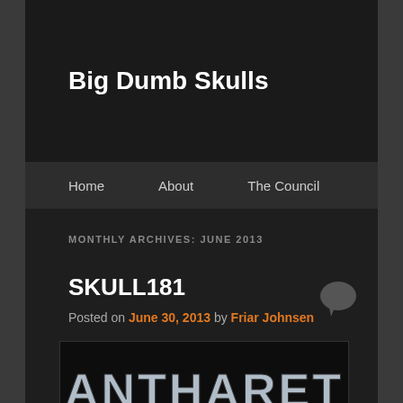Big Dumb Skulls
Home   About   The Council
MONTHLY ARCHIVES: JUNE 2013
SKULL181
Posted on June 30, 2013 by Friar Johnsen
[Figure (photo): ANTHARET band logo in stone/metallic lettering style on dark background]